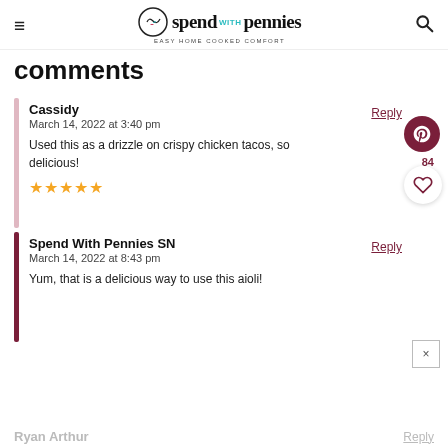spend with pennies — EASY HOME COOKED COMFORT
comments
Cassidy
March 14, 2022 at 3:40 pm
Used this as a drizzle on crispy chicken tacos, so delicious!
★★★★★
Spend With Pennies SN
March 14, 2022 at 8:43 pm
Yum, that is a delicious way to use this aioli!
Ryan Arthur